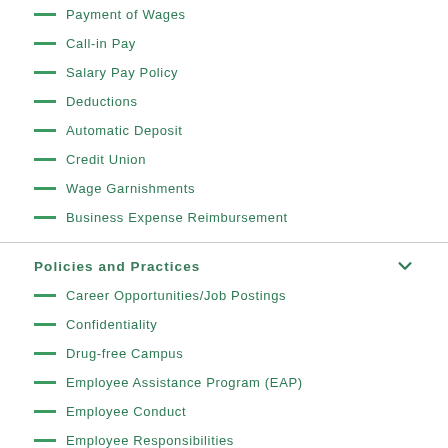Payment of Wages
Call-in Pay
Salary Pay Policy
Deductions
Automatic Deposit
Credit Union
Wage Garnishments
Business Expense Reimbursement
Policies and Practices
Career Opportunities/Job Postings
Confidentiality
Drug-free Campus
Employee Assistance Program (EAP)
Employee Conduct
Employee Responsibilities
Family Medical Leave